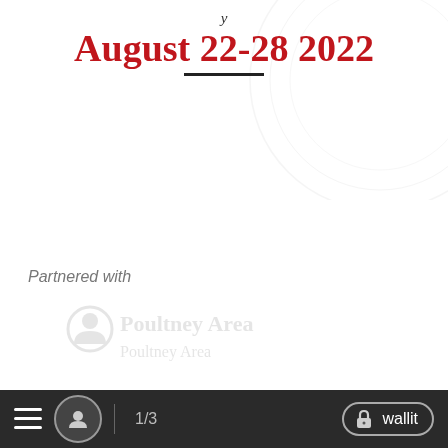August 22-28 2022
Partnered with
[Figure (logo): Poultney Area watermark logo, faded, at bottom of page]
≡  [user icon]  1/3  [lock icon]  wallit